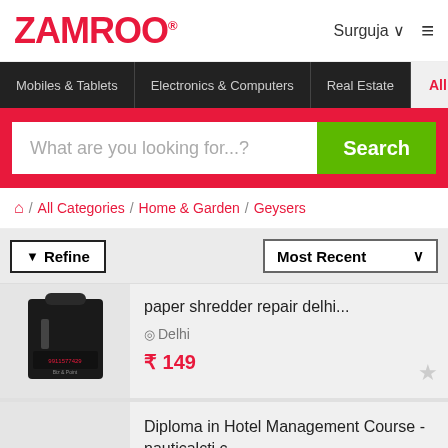ZAMROO® — Surguja — Menu
Mobiles & Tablets | Electronics & Computers | Real Estate | All
What are you looking for...? Search
Home / All Categories / Home & Garden / Geysers
Refine | Most Recent
paper shredder repair delhi... — Delhi — ₹ 149
Diploma in Hotel Management Course - nauticalcti.c...